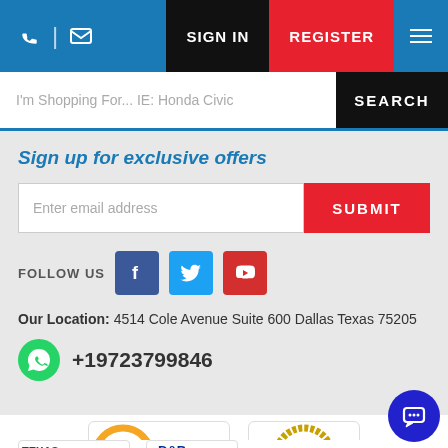SIGN IN | REGISTER | menu
I'm Shopping For... IE: Honda Civic
Sign up for exclusive offers
Enter email address
FOLLOW US
Our Location: 4514 Cole Avenue Suite 600 Dallas Texas 75205
+19723799846
[Figure (logo): Norton SECURED powered by Symantec badge]
[Figure (logo): Authorize.Net Verified Merchant badge]
[Figure (logo): Texas Chamber of Commerce logo]
[Figure (logo): D&B logo]